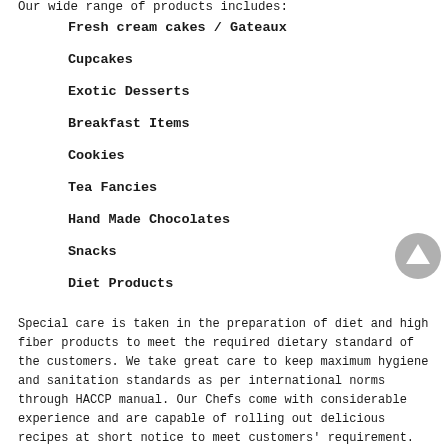Our wide range of products includes:
Fresh cream cakes / Gateaux
Cupcakes
Exotic Desserts
Breakfast Items
Cookies
Tea Fancies
Hand Made Chocolates
Snacks
Diet Products
[Figure (illustration): A grey circular button with an upward-pointing arrow icon]
Special care is taken in the preparation of diet and high fiber products to meet the required dietary standard of the customers. We take great care to keep maximum hygiene and sanitation standards as per international norms through HACCP manual. Our Chefs come with considerable experience and are capable of rolling out delicious recipes at short notice to meet customers’ requirement.